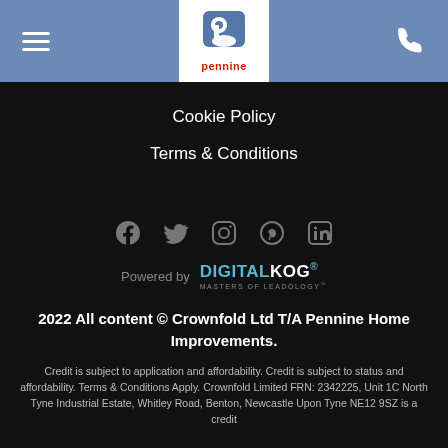[Figure (logo): Pennine home improvements logo with stylized P icon and red text 'pennine' below]
Cookie Policy
Terms & Conditions
[Figure (infographic): Social media icons: Facebook, Twitter, Instagram, Pinterest, LinkedIn]
[Figure (logo): Powered by DIGITALKOG - Masters of Leadology]
2022 All content © Crownfold Ltd T/A Pennine Home Improvements.
Credit is subject to application and affordability. Credit is subject to status and affordability. Terms & Conditions Apply. Crownfold Limited FRN: 2342225, Unit 1C North Tyne Industrial Estate, Whitley Road, Benton, Newcastle Upon Tyne NE12 9SZ is a credit